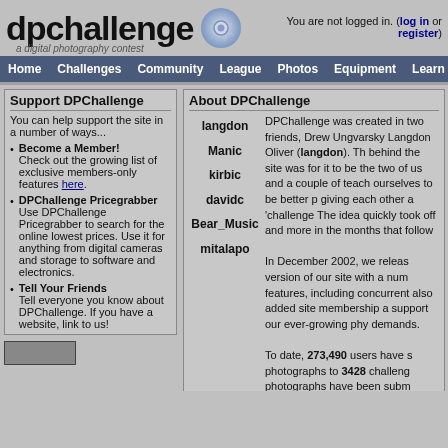dpchallenge — a digital photography contest
You are not logged in. (log in or register)
Home | Challenges | Community | League | Photos | Equipment | Learn | D
Support DPChallenge
You can help support the site in a number of ways...
Become a Member! Check out the growing list of exclusive members-only features here.
DPChallenge Pricegrabber Use DPChallenge Pricegrabber to search for the online lowest prices. Use it for anything from digital cameras and storage to software and electronics.
Tell Your Friends Tell everyone you know about DPChallenge. If you have a website, link to us!
About DPChallenge
langdon
Manic
kirbic
davidc
Bear_Music
mitalapo
DPChallenge was created in two friends, Drew Ungvarsky Langdon Oliver (langdon). The behind the site was for it to be the two of us and a couple of teach ourselves to be better p giving each other a 'challenge The idea quickly took off and more in the months that follow
In December 2002, we releas version of our site with a num features, including concurrent also added site membership a support our ever-growing phy demands.
To date, 273,490 users have s photographs to 3428 challen photographs have been subm portfolios.
Site Council